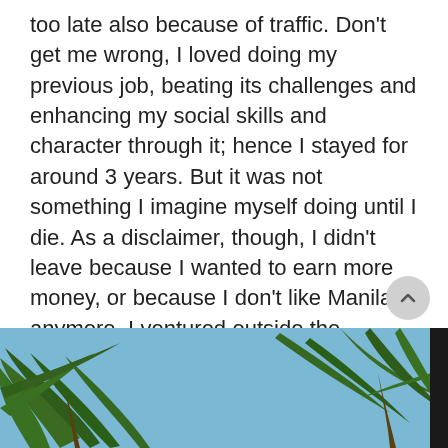too late also because of traffic. Don't get me wrong, I loved doing my previous job, beating its challenges and enhancing my social skills and character through it; hence I stayed for around 3 years. But it was not something I imagine myself doing until I die. As a disclaimer, though, I didn't leave because I wanted to earn more money, or because I don't like Manila anymore. I ventured outside the Philippines because I believe I was called to do it. I had a passion for nations. And even while I wasn't pursuing material things and comfort, I actually got blessed with them. Read here why I loved Vietnam even before I lived there.
[Figure (photo): Photo of palm tree branches against a blue sky, partially visible at the bottom of the page]